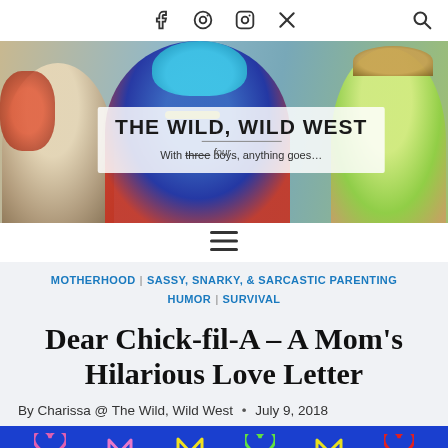Social icons: Facebook, Pinterest, Instagram, X (Twitter), Search
[Figure (photo): Blog banner photo showing three children dressed playfully. Center child wears a blue fuzzy costume hat. The banner reads 'THE WILD, WILD WEST - With four (strikethrough: three) boys, anything goes...']
[Figure (other): Hamburger menu icon (three horizontal lines)]
MOTHERHOOD | SASSY, SNARKY, & SARCASTIC PARENTING HUMOR | SURVIVAL
Dear Chick-fil-A – A Mom's Hilarious Love Letter
By Charissa @ The Wild, Wild West • July 9, 2018
[Figure (photo): Bottom decorative strip with blue background and colorful heart/letter M outlines in pink, yellow, green, red colors]